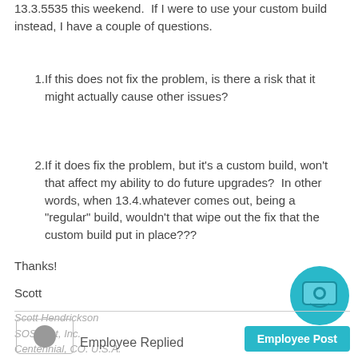13.3.5535 this weekend.  If I were to use your custom build instead, I have a couple of questions.
1. If this does not fix the problem, is there a risk that it might actually cause other issues?
2. If it does fix the problem, but it's a custom build, won't that affect my ability to do future upgrades?  In other words, when 13.4.whatever comes out, being a "regular" build, wouldn't that wipe out the fix that the custom build put in place???
Thanks!
Scott
Scott Hendrickson
SOS4Net, Inc.
Centennial, CO. U.S.A.
Employee Replied
Employee Post